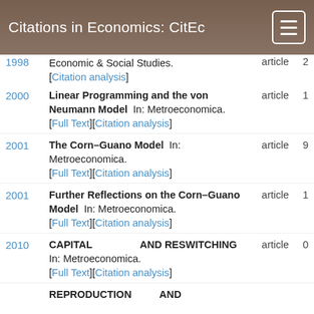Citations in Economics: CitEc
1998 — Economic & Social Studies. [Citation analysis] — article — 2
2000 — Linear Programming and the von Neumann Model In: Metroeconomica. [Full Text][Citation analysis] — article — 1
2001 — The Corn–Guano Model In: Metroeconomica. [Full Text][Citation analysis] — article — 9
2001 — Further Reflections on the Corn–Guano Model In: Metroeconomica. [Full Text][Citation analysis] — article — 1
2010 — CAPITAL AND RESWITCHING In: Metroeconomica. [Full Text][Citation analysis] — article — 0
REPRODUCTION AND…